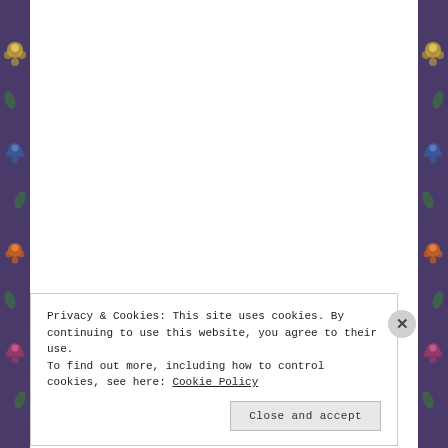[Figure (photo): Black and white vintage photograph of a glamorous woman in a low-cut gown with jewelry, her head tilted upward, with a man in a dark suit partially visible behind her]
The Horse with the Dreamy Eyes
Privacy & Cookies: This site uses cookies. By continuing to use this website, you agree to their use.
To find out more, including how to control cookies, see here: Cookie Policy
Close and accept